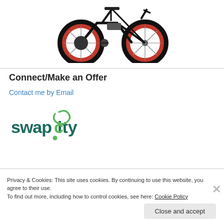[Figure (photo): Electric bicycle with black frame and red-rimmed fat tires, viewed from the side]
Connect/Make an Offer
Contact me by Email
[Figure (logo): Swap City logo in green and dark teal lettering]
Privacy & Cookies: This site uses cookies. By continuing to use this website, you agree to their use.
To find out more, including how to control cookies, see here: Cookie Policy
Close and accept